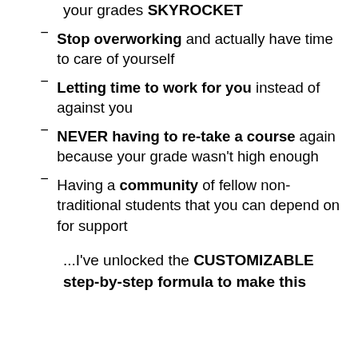your grades SKYROCKET
Stop overworking and actually have time to care of yourself
Letting time to work for you instead of against you
NEVER having to re-take a course again because your grade wasn't high enough
Having a community of fellow non-traditional students that you can depend on for support
...I've unlocked the CUSTOMIZABLE step-by-step formula to make this